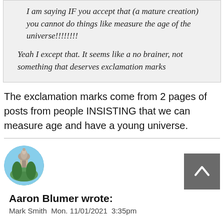I am saying IF you accept that (a mature creation) you cannot do things like measure the age of the universe!!!!!!!!
Yeah I except that. It seems like a no brainer, not something that deserves exclamation marks
The exclamation marks come from 2 pages of posts from people INSISTING that we can measure age and have a young universe.
[Figure (photo): Circular avatar photo showing a domed building (capitol building) with trees, blue sky background]
Aaron Blumer wrote:
Mark Smith  Mon. 11/01/2021  3:35pm